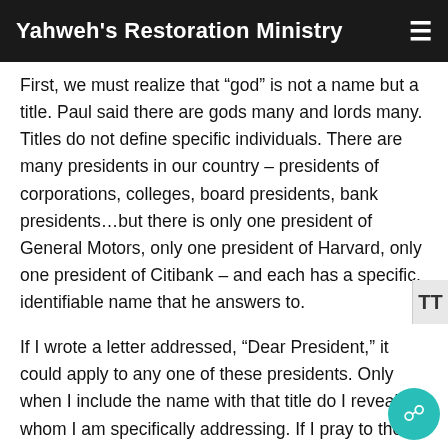Yahweh's Restoration Ministry
First, we must realize that “god” is not a name but a title. Paul said there are gods many and lords many. Titles do not define specific individuals. There are many presidents in our country – presidents of corporations, colleges, board presidents, bank presidents…but there is only one president of General Motors, only one president of Harvard, only one president of Citibank – and each has a specific, identifiable name that he answers to.
If I wrote a letter addressed, “Dear President,” it could apply to any one of these presidents. Only when I include the name with that title do I reveal whom I am specifically addressing. If I pray to the god of this world, Paul in 2Corinthians 4:4 says that I could be praying to Satan because Satan is called a